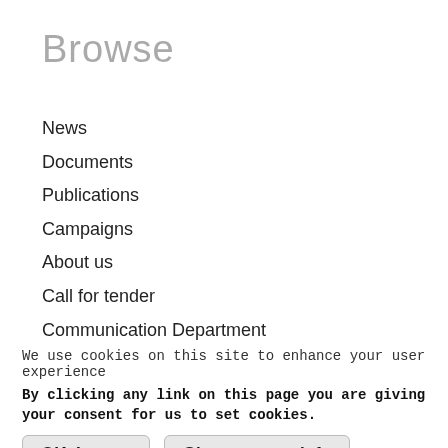Browse
News
Documents
Publications
Campaigns
About us
Call for tender
Communication Department
Jobs
We use cookies on this site to enhance your user experience
By clicking any link on this page you are giving your consent for us to set cookies.
OK, I agree | Give me more info